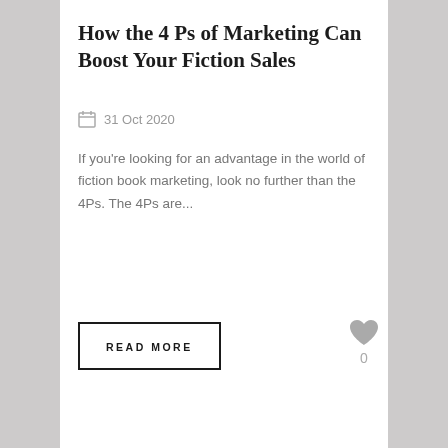How the 4 Ps of Marketing Can Boost Your Fiction Sales
31 Oct 2020
If you're looking for an advantage in the world of fiction book marketing, look no further than the 4Ps. The 4Ps are...
READ MORE
[Figure (other): Heart/like icon with count 0]
[Figure (other): Social share icons: Facebook, Google+, LinkedIn, Pinterest, Reddit, Twitter]
[Figure (photo): Gray image with a large white question mark in the center]